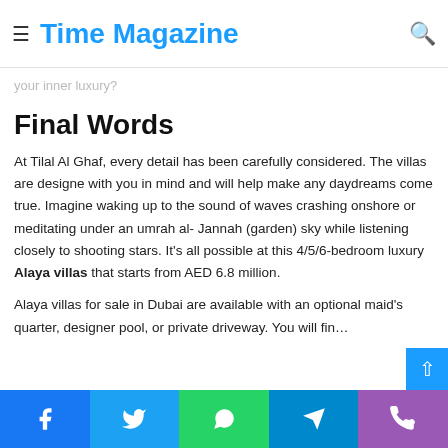Time Magazine
private and luxuries of about many base. Now, the only those to embrace your inner luxury?
Final Words
At Tilal Al Ghaf, every detail has been carefully considered. The villas are designe with you in mind and will help make any daydreams come true. Imagine waking up to the sound of waves crashing onshore or meditating under an umrah al-Jannah (garden) sky while listening closely to shooting stars. It's all possible at this 4/5/6-bedroom luxury Alaya villas that starts from AED 6.8 million.
Alaya villas for sale in Dubai are available with an optional maid's quarter, designer pool, or private driveway. You will fin...